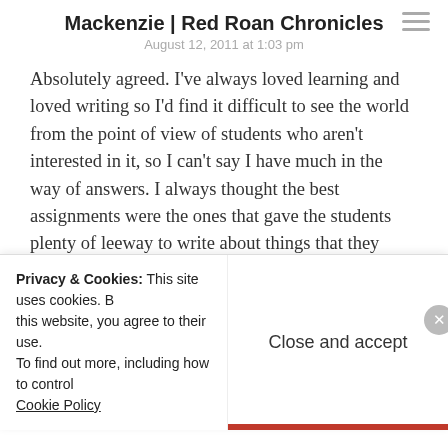Mackenzie | Red Roan Chronicles
August 12, 2011 at 1:03 pm
Absolutely agreed. I've always loved learning and loved writing so I'd find it difficult to see the world from the point of view of students who aren't interested in it, so I can't say I have much in the way of answers. I always thought the best assignments were the ones that gave the students plenty of leeway to write about things that they actually found interesting, and pushed them to do something new. With a lot of assignments I had in school, there was a palpable sense that the teacher
Privacy & Cookies: This site uses cookies. By continuing to use this website, you agree to their use. To find out more, including how to control cookies, see here: Cookie Policy
Close and accept